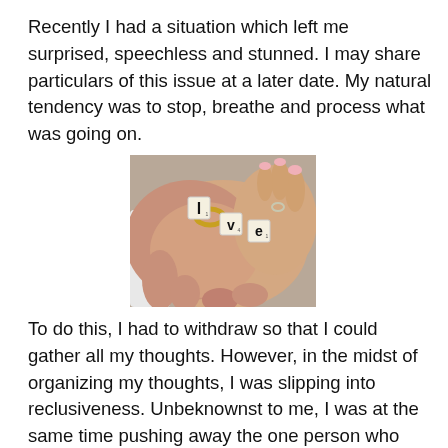Recently I had a situation which left me surprised, speechless and stunned. I may share particulars of this issue at a later date. My natural tendency was to stop, breathe and process what was going on.
[Figure (photo): Photo of two hands forming a heart shape, with Scrabble letter tiles spelling 'l v e' and a gold wedding ring on one palm. One hand appears to belong to a person in a white shirt sleeve, the other has pink-painted nails.]
To do this, I had to withdraw so that I could gather all my thoughts. However, in the midst of organizing my thoughts, I was slipping into reclusiveness. Unbeknownst to me, I was at the same time pushing away the one person who